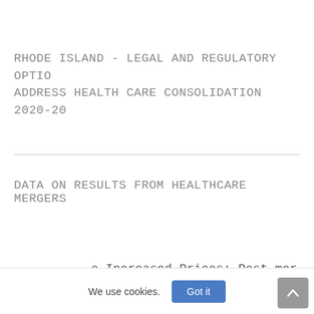RHODE ISLAND - LEGAL AND REGULATORY OPTIO ADDRESS HEALTH CARE CONSOLIDATION 2020-20
DATA ON RESULTS FROM HEALTHCARE MERGERS
o Increased Prices: Post-mer
We use cookies.